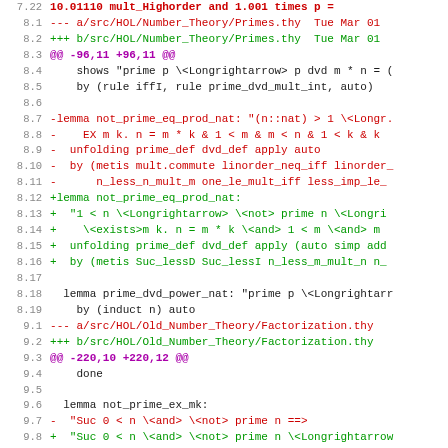[Figure (screenshot): Code diff view showing changes to HOL Number Theory Primes.thy and Factorization.thy files with line numbers, red deleted lines, green added lines, and purple diff headers.]